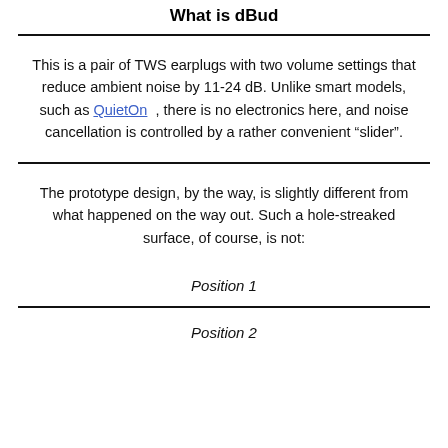What is dBud
This is a pair of TWS earplugs with two volume settings that reduce ambient noise by 11-24 dB. Unlike smart models, such as QuietOn , there is no electronics here, and noise cancellation is controlled by a rather convenient “slider”.
The prototype design, by the way, is slightly different from what happened on the way out. Such a hole-streaked surface, of course, is not:
Position 1
Position 2